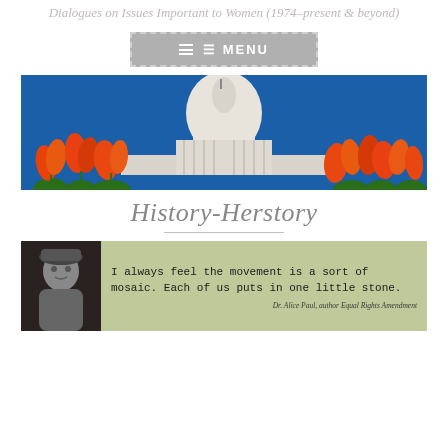Dialogues on Issues Important to Women (1974–present & beyond)
[Figure (screenshot): Gray menu button with hamburger icon and MENU text, dashed border]
[Figure (photo): US Capitol building with orange/red tulips in foreground against a deep blue sky]
History-Herstory
[Figure (infographic): Quote banner with black and white portrait photo on left and quote on olive/green background: 'I always feel the movement is a sort of mosaic. Each of us puts in one little stone.' attributed to Dr. Alice Paul, author Equal Rights Amendment]